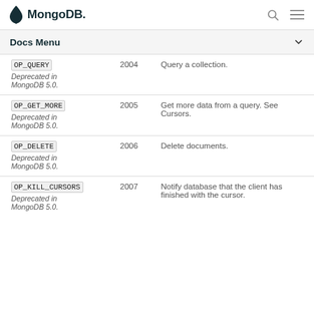MongoDB
Docs Menu
| Opcode | OpCode Number | Comment |
| --- | --- | --- |
| OP_QUERY
Deprecated in MongoDB 5.0. | 2004 | Query a collection. |
| OP_GET_MORE
Deprecated in MongoDB 5.0. | 2005 | Get more data from a query. See Cursors. |
| OP_DELETE
Deprecated in MongoDB 5.0. | 2006 | Delete documents. |
| OP_KILL_CURSORS
Deprecated in MongoDB 5.0. | 2007 | Notify database that the client has finished with the cursor. |